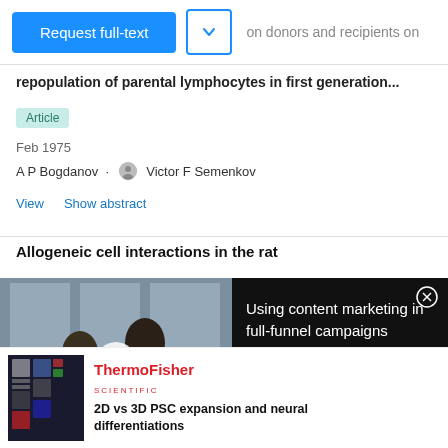on donors and recipients on repopulation of parental lymphocytes in first generation...
Article
Feb 1975
A P Bogdanov · Victor F Semenkov
View  Show abstract
Allogeneic cell interactions in the rat
[Figure (screenshot): Video overlay showing 'Using content marketing in full-funnel campaigns' with a thumbnail of two people at a desk and a close button]
[Figure (logo): ThermoFisher Scientific advertisement thumbnail with small poster image]
2D vs 3D PSC expansion and neural differentiations